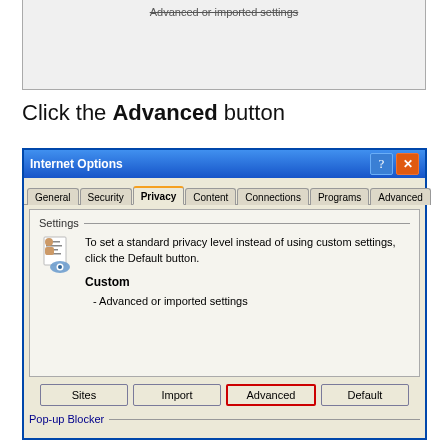[Figure (screenshot): Top portion of a Windows XP dialog showing 'Advanced or imported settings' text with a strikethrough line]
Click the Advanced button
[Figure (screenshot): Internet Options dialog in Windows XP showing the Privacy tab with Settings section, Custom / Advanced or imported settings text, and buttons: Sites, Import, Advanced (highlighted in red), Default. Pop-up Blocker section visible at bottom.]